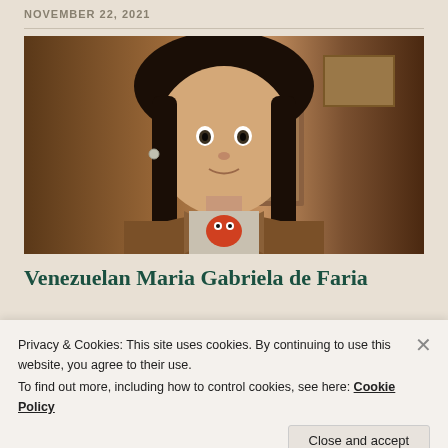NOVEMBER 22, 2021
[Figure (photo): Young woman with dark hair and bangs, wearing a brown jacket over a light shirt with an Elmo graphic, looking toward the camera in an indoor setting with warm lighting.]
Venezuelan Maria Gabriela de Faria talks about connections and identity with...
Privacy & Cookies: This site uses cookies. By continuing to use this website, you agree to their use.
To find out more, including how to control cookies, see here: Cookie Policy
Close and accept